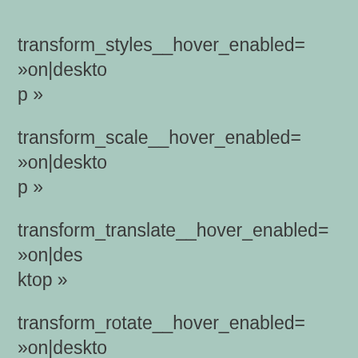transform_styles__hover_enabled= »on|desktop » transform_scale__hover_enabled= »on|desktop » transform_translate__hover_enabled= »on|desktop » transform_rotate__hover_enabled= »on|desktop » transform_skew__hover_enabled= »on|desktop » transform_origin__hover_enabled= »on|desktop » transform_scale__hover= »105%|105% »]
Lorem ipsum dolor sit amet, consectetuer